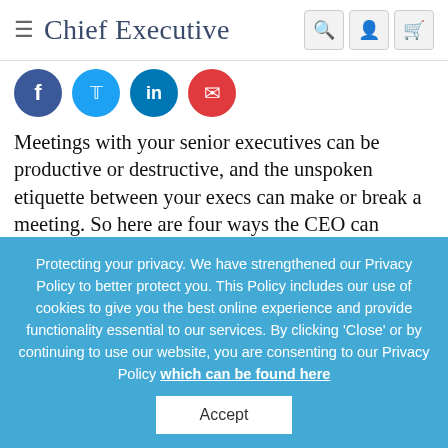Chief Executive
[Figure (illustration): Four social media share/action icons (circular buttons): Facebook blue, Twitter blue, LinkedIn blue, email/print red]
Meetings with your senior executives can be productive or destructive, and the unspoken etiquette between your execs can make or break a meeting. So here are four ways the CEO can control the meeting and ensure that it accomplishes all you need it to. The first two
Protecting your privacy. We have strengthened our Privacy Policy to better protect you. This Policy includes our use of cookies to give you the best online experience and provide functionality essential to our services. By clicking 'Close' or by continuing to use our website, you are consenting to our Privacy Policy which can be found here
Accept